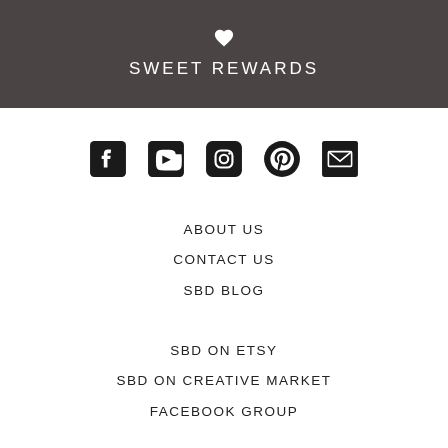SWEET REWARDS
[Figure (infographic): Row of social media icons: Facebook, YouTube, Instagram, Pinterest, Email]
ABOUT US
CONTACT US
SBD BLOG
SBD ON ETSY
SBD ON CREATIVE MARKET
FACEBOOK GROUP
[Figure (logo): Black circular icon with shopping bag and heart symbol]
LOYALTY SCHEME
LINKS